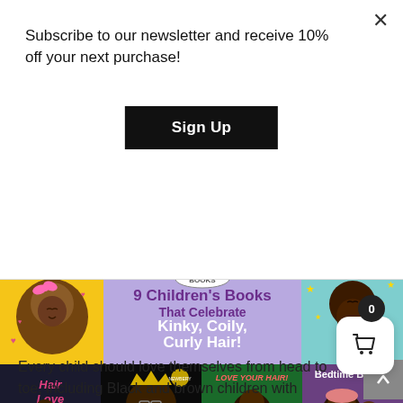Subscribe to our newsletter and receive 10% off your next purchase!
Sign Up
[Figure (illustration): Banner image showing 9 Children's Books That Celebrate Kinky, Coily, Curly Hair! featuring book covers including Hair Love, Crown, Love Your Hair!, Bedtime Bonnet, and others with illustrated Black children characters on yellow and purple backgrounds.]
Every child should love themselves from head to toe, including Black and brown children with